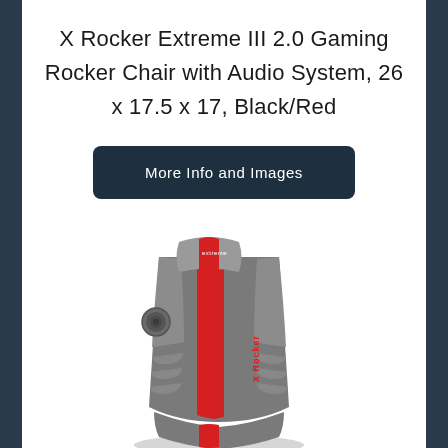X Rocker Extreme III 2.0 Gaming Rocker Chair with Audio System, 26 x 17.5 x 17, Black/Red
More Info and Images
[Figure (photo): X Rocker Extreme III 2.0 gaming rocker chair in gray and red color scheme, shown from a front-angled view. The chair has padded gray seat panels, a red center stripe running from the top headrest to the seat, and the X Rocker branding logo in red on the side. A speaker/audio control element is visible on the left side of the backrest.]